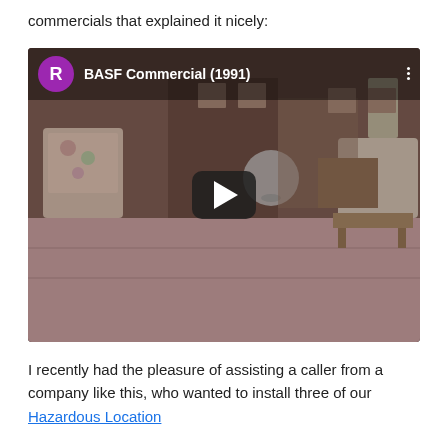commercials that explained it nicely:
[Figure (screenshot): YouTube video thumbnail showing a 1991 BASF Commercial. The thumbnail shows a living room scene with carpet, furniture, and a globe. A purple avatar circle with 'R' is shown in the top bar alongside the title 'BASF Commercial (1991)'. A play button is centered over the thumbnail.]
I recently had the pleasure of assisting a caller from a company like this, who wanted to install three of our Hazardous Location